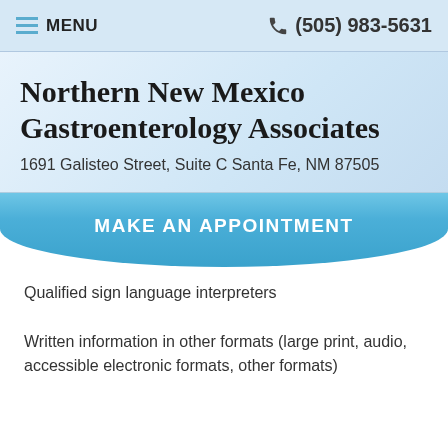MENU | (505) 983-5631
Northern New Mexico Gastroenterology Associates
1691 Galisteo Street, Suite C Santa Fe, NM 87505
MAKE AN APPOINTMENT
Qualified sign language interpreters
Written information in other formats (large print, audio, accessible electronic formats, other formats)